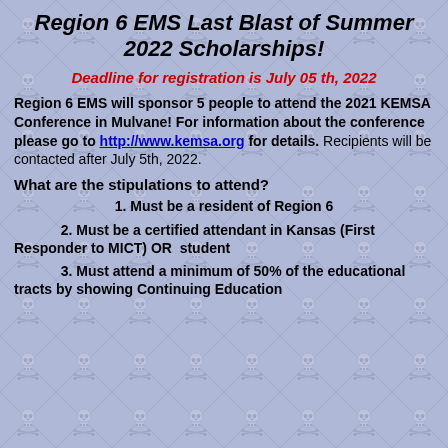Region 6 EMS Last Blast of Summer 2022 Scholarships!
Deadline for registration is July 05 th, 2022
Region 6 EMS will sponsor 5 people to attend the 2021 KEMSA Conference in Mulvane! For information about the conference please go to http://www.kemsa.org for details. Recipients will be contacted after July 5th, 2022.
What are the stipulations to attend?
1. Must be a resident of Region 6
2. Must be a certified attendant in Kansas (First Responder to MICT) OR  student
3. Must attend a minimum of 50% of the educational tracts by showing Continuing Education